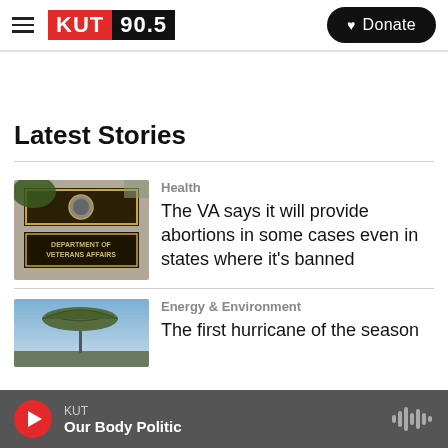KUT 90.5 — Donate
Latest Stories
[Figure (photo): Department of Veterans Affairs building sign with official seal]
Health
The VA says it will provide abortions in some cases even in states where it's banned
[Figure (photo): Outdoor scene with umbrella against blue sky]
Energy & Environment
The first hurricane of the season
KUT — Our Body Politic